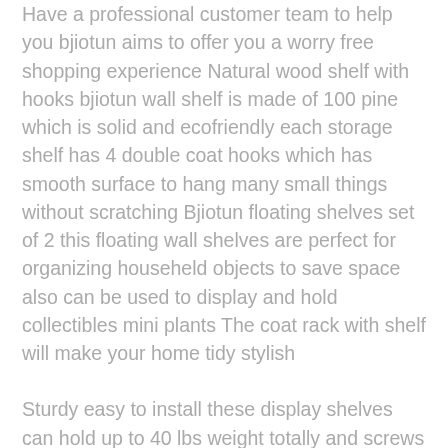Have a professional customer team to help you bjiotun aims to offer you a worry free shopping experience Natural wood shelf with hooks bjiotun wall shelf is made of 100 pine which is solid and ecofriendly each storage shelf has 4 double coat hooks which has smooth surface to hang many small things without scratching Bjiotun floating shelves set of 2 this floating wall shelves are perfect for organizing househeld objects to save space also can be used to display and hold collectibles mini plants The coat rack with shelf will make your home tidy stylish
Sturdy easy to install these display shelves can hold up to 40 lbs weight totally and screws hardware set are packaged for easy installation Just locate the installation position and insert screws into holes with a screwdriver Style multipurpose design wooden shelf for wall has natural grains bronze hooks make this entryway shelf with hooks filling a sense of rustic would be a nice decoration in your entryway hallways foyer bedroom kitchens bathroom or closet